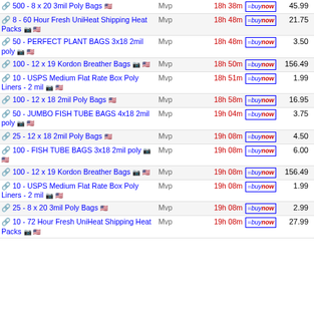500 - 8 x 20 3mil Poly Bags | Mvp | 18h 38m | 45.99
8 - 60 Hour Fresh UniHeat Shipping Heat Packs | Mvp | 18h 48m | 21.75
50 - PERFECT PLANT BAGS 3x18 2mil poly | Mvp | 18h 48m | 3.50
100 - 12 x 19 Kordon Breather Bags | Mvp | 18h 50m | 156.49
10 - USPS Medium Flat Rate Box Poly Liners - 2 mil | Mvp | 18h 51m | 1.99
100 - 12 x 18 2mil Poly Bags | Mvp | 18h 58m | 16.95
50 - JUMBO FISH TUBE BAGS 4x18 2mil poly | Mvp | 19h 04m | 3.75
25 - 12 x 18 2mil Poly Bags | Mvp | 19h 08m | 4.50
100 - FISH TUBE BAGS 3x18 2mil poly | Mvp | 19h 08m | 6.00
100 - 12 x 19 Kordon Breather Bags | Mvp | 19h 08m | 156.49
10 - USPS Medium Flat Rate Box Poly Liners - 2 mil | Mvp | 19h 08m | 1.99
25 - 8 x 20 3mil Poly Bags | Mvp | 19h 08m | 2.99
10 - 72 Hour Fresh UniHeat Shipping Heat Packs | Mvp | 19h 08m | 27.99